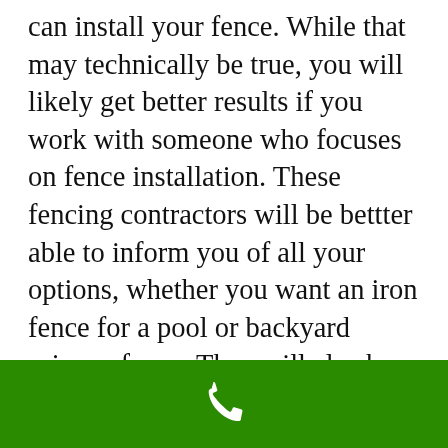can install your fence. While that may technically be true, you will likely get better results if you work with someone who focuses on fence installation. These fencing contractors will be bettter able to inform you of all your options, whether you want an iron fence for a pool or backyard privacy fence. They will also be able to address problems should they arise. An expert fencing company is also more likely to understand any relevant local regulations or codes regardng fencing
[Figure (other): Green footer bar with a white phone/call icon in the center]